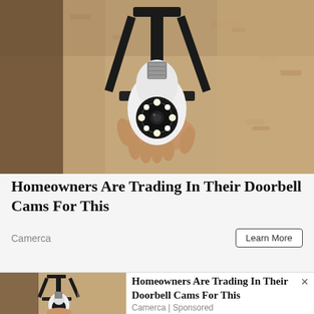[Figure (photo): A person installing a white security camera bulb into a black outdoor wall light fixture mounted on a textured stucco wall.]
Homeowners Are Trading In Their Doorbell Cams For This
Camerca
Learn More
[Figure (photo): Small thumbnail of the same security camera bulb installed in black outdoor light fixture on stucco wall.]
Homeowners Are Trading In Their Doorbell Cams For This
Camerca | Sponsored